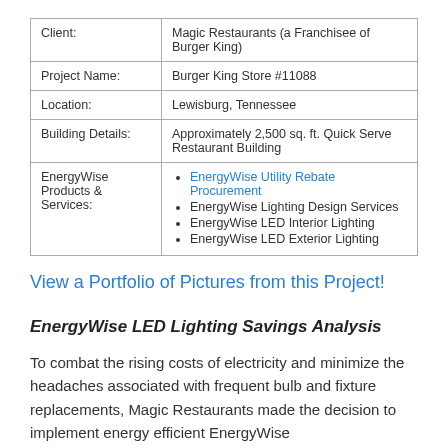| Client: | Magic Restaurants (a Franchisee of Burger King) |
| Project Name: | Burger King Store #11088 |
| Location: | Lewisburg, Tennessee |
| Building Details: | Approximately 2,500 sq. ft. Quick Serve Restaurant Building |
| EnergyWise Products & Services: | EnergyWise Utility Rebate Procurement
EnergyWise Lighting Design Services
EnergyWise LED Interior Lighting
EnergyWise LED Exterior Lighting |
View a Portfolio of Pictures from this Project!
EnergyWise LED Lighting Savings Analysis
To combat the rising costs of electricity and minimize the headaches associated with frequent bulb and fixture replacements, Magic Restaurants made the decision to implement energy efficient EnergyWise